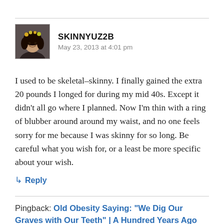[Figure (photo): Avatar photo of a woman with curly hair and a flower crown, smiling]
SKINNYUZ2B
May 23, 2013 at 4:01 pm
I used to be skeletal–skinny. I finally gained the extra 20 pounds I longed for during my mid 40s. Except it didn't all go where I planned. Now I'm thin with a ring of blubber around around my waist, and no one feels sorry for me because I was skinny for so long. Be careful what you wish for, or a least be more specific about your wish.
↳ Reply
Pingback: Old Obesity Saying: “We Dig Our Graves with Our Teeth” | A Hundred Years Ago